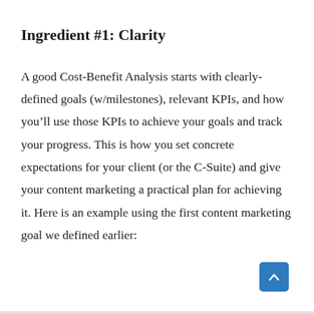Ingredient #1: Clarity
A good Cost-Benefit Analysis starts with clearly-defined goals (w/milestones), relevant KPIs, and how you'll use those KPIs to achieve your goals and track your progress. This is how you set concrete expectations for your client (or the C-Suite) and give your content marketing a practical plan for achieving it. Here is an example using the first content marketing goal we defined earlier: